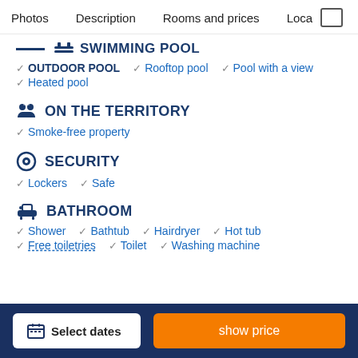Photos   Description   Rooms and prices   Loca
SWIMMING POOL
OUTDOOR POOL
Rooftop pool
Pool with a view
Heated pool
ON THE TERRITORY
Smoke-free property
SECURITY
Lockers
Safe
BATHROOM
Shower
Bathtub
Hairdryer
Hot tub
Free toiletries
Toilet
Washing machine